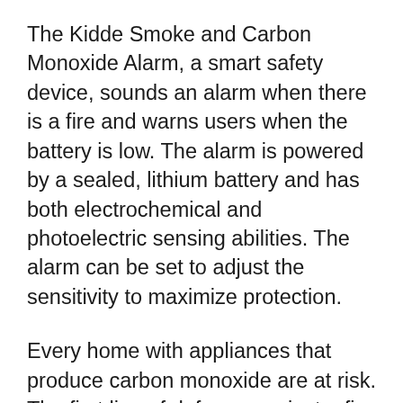The Kidde Smoke and Carbon Monoxide Alarm, a smart safety device, sounds an alarm when there is a fire and warns users when the battery is low. The alarm is powered by a sealed, lithium battery and has both electrochemical and photoelectric sensing abilities. The alarm can be set to adjust the sensitivity to maximize protection.
Every home with appliances that produce carbon monoxide are at risk. The first line of defense against a fire is the Kidde Smoke and Carbon Monoxide Alarm. Home fires are common in the United States every year. When they do occur, people often have limited time to evacuate. With an alarm, however, they can make a quick exit from the home and avoid being caught by the